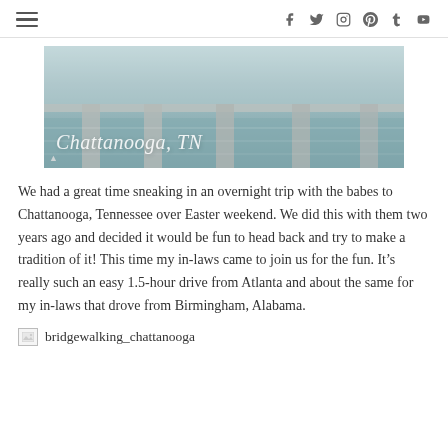Navigation menu and social icons (f, twitter, instagram, pinterest, tumblr, youtube)
[Figure (photo): Hero photo of Chattanooga, TN with bridge over water, overlaid with cursive text 'Chattanooga, TN']
We had a great time sneaking in an overnight trip with the babes to Chattanooga, Tennessee over Easter weekend. We did this with them two years ago and decided it would be fun to head back and try to make a tradition of it! This time my in-laws came to join us for the fun. It’s really such an easy 1.5-hour drive from Atlanta and about the same for my in-laws that drove from Birmingham, Alabama.
[Figure (photo): Broken image placeholder labeled 'bridgewalking_chattanooga']